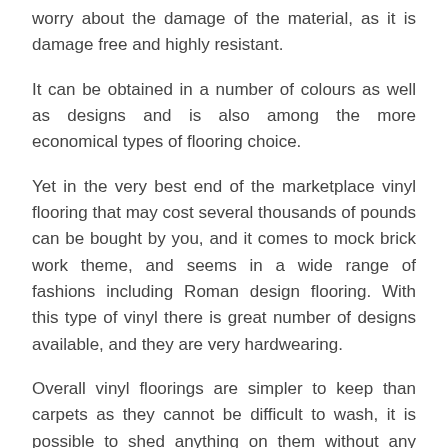worry about the damage of the material, as it is damage free and highly resistant.
It can be obtained in a number of colours as well as designs and is also among the more economical types of flooring choice.
Yet in the very best end of the marketplace vinyl flooring that may cost several thousands of pounds can be bought by you, and it comes to mock brick work theme, and seems in a wide range of fashions including Roman design flooring. With this type of vinyl there is great number of designs available, and they are very hardwearing.
Overall vinyl floorings are simpler to keep than carpets as they cannot be difficult to wash, it is possible to shed anything on them without any stress, and they are not expensive to replace compared to carpet.